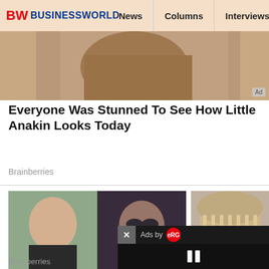BW BUSINESSWORLD | News | Columns | Interviews | BW
[Figure (photo): Cropped top image with Ad badge]
Everyone Was Stunned To See How Little Anakin Looks Today
Brainberries
[Figure (photo): Two side-by-side celebrity photos with Ad badge - left shows smiling man, right shows man with sunglasses]
These Guys Are Turning 50 This Year. Feeling Old Yet?
Brainberries
[Figure (photo): Indian Parliament building exterior]
A Vision Of India's Future
[Figure (other): Video ad overlay with close button X, Ads by eRG logo, dark video player with pause button]
[Figure (photo): Bottom left: blue-toned concert or music photo]
[Figure (photo): Bottom right: partial photo of people]